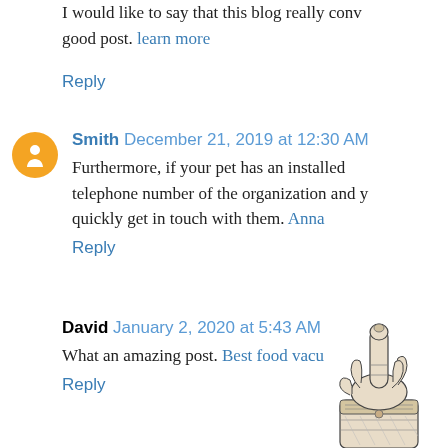I would like to say that this blog really conv good post. learn more
Reply
Smith December 21, 2019 at 12:30 AM
Furthermore, if your pet has an installed telephone number of the organization and y quickly get in touch with them. Anna
Reply
David January 2, 2020 at 5:43 AM
What an amazing post. Best food vacu
Reply
[Figure (illustration): Vintage pointing hand/finger illustration (manicule), black and white engraving style, positioned bottom right corner]